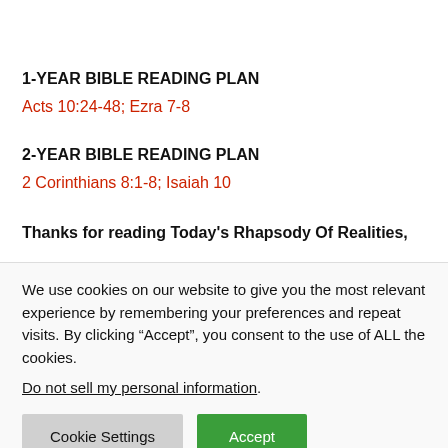1-YEAR BIBLE READING PLAN
Acts 10:24-48; Ezra 7-8
2-YEAR BIBLE READING PLAN
2 Corinthians 8:1-8; Isaiah 10
Thanks for reading Today's Rhapsody Of Realities,
We use cookies on our website to give you the most relevant experience by remembering your preferences and repeat visits. By clicking “Accept”, you consent to the use of ALL the cookies.
Do not sell my personal information.